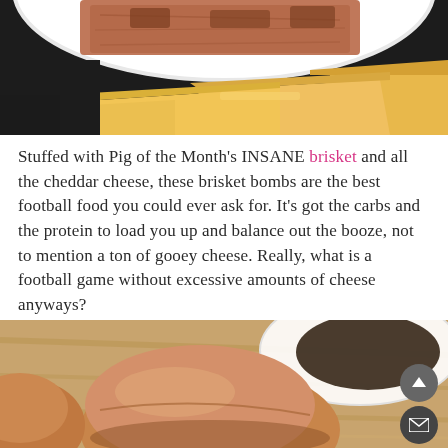[Figure (photo): Close-up food photo on a dark background showing a white plate with brisket meat on top and slices of yellow cheddar cheese arranged in front, on a dark/black surface.]
Stuffed with Pig of the Month's INSANE brisket and all the cheddar cheese, these brisket bombs are the best football food you could ever ask for. It's got the carbs and the protein to load you up and balance out the booze, not to mention a ton of gooey cheese. Really, what is a football game without excessive amounts of cheese anyways?
[Figure (photo): Close-up photo of round brisket bombs (stuffed bread rolls) on a wooden surface with a white bowl in the background, warm brown tones.]